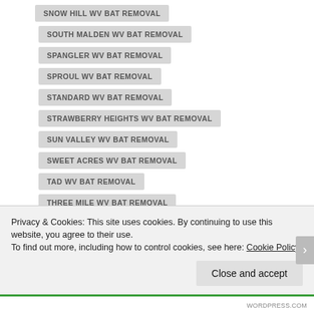SNOW HILL WV BAT REMOVAL
SOUTH MALDEN WV BAT REMOVAL
SPANGLER WV BAT REMOVAL
SPROUL WV BAT REMOVAL
STANDARD WV BAT REMOVAL
STRAWBERRY HEIGHTS WV BAT REMOVAL
SUN VALLEY WV BAT REMOVAL
SWEET ACRES WV BAT REMOVAL
TAD WV BAT REMOVAL
THREE MILE WV BAT REMOVAL
TURNER WV BAT REMOVAL
Privacy & Cookies: This site uses cookies. By continuing to use this website, you agree to their use.
To find out more, including how to control cookies, see here: Cookie Policy
Close and accept